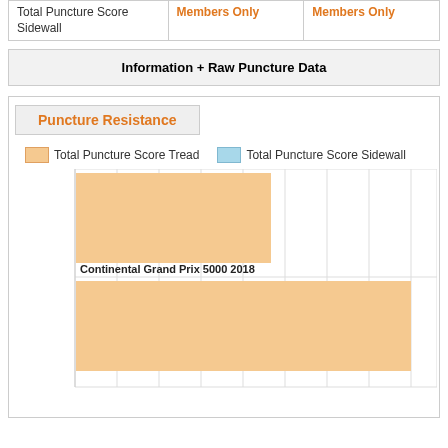| Total Puncture Score Sidewall | Members Only | Members Only |
| --- | --- | --- |
Information + Raw Puncture Data
Puncture Resistance
Total Puncture Score Tread   Total Puncture Score Sidewall
[Figure (bar-chart): Puncture Resistance]